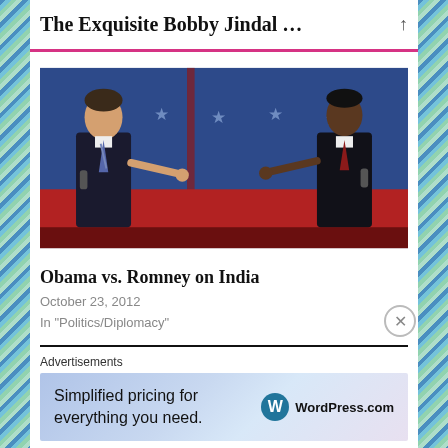The Exquisite Bobby Jindal …
[Figure (photo): Photo of Mitt Romney (left) and Barack Obama (right) at a presidential debate, both pointing fingers at each other. Blue backdrop with stars, red lower section.]
Obama vs. Romney on India
October 23, 2012
In "Politics/Diplomacy"
Advertisements
[Figure (screenshot): WordPress.com advertisement banner: 'Simplified pricing for everything you need.' with WordPress logo on gradient blue/purple background.]